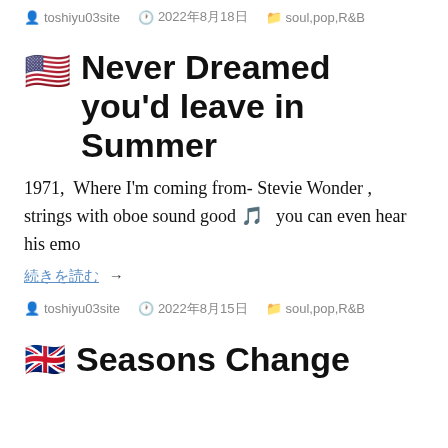toshiyu03site  2022年8月18日  soul,pop,R&B
🇺🇸  Never Dreamed you'd leave in Summer
1971,  Where I'm coming from- Stevie Wonder ,   strings with oboe sound good 🎵  you can even hear his emo
続きを読む →
toshiyu03site  2022年8月15日  soul,pop,R&B
🇬🇧  Seasons Change